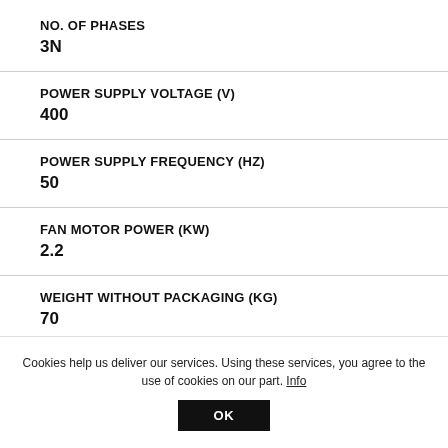NO. OF PHASES
3N
POWER SUPPLY VOLTAGE (V)
400
POWER SUPPLY FREQUENCY (HZ)
50
FAN MOTOR POWER (KW)
2.2
WEIGHT WITHOUT PACKAGING (KG)
70
Cookies help us deliver our services. Using these services, you agree to the use of cookies on our part. Info
OK